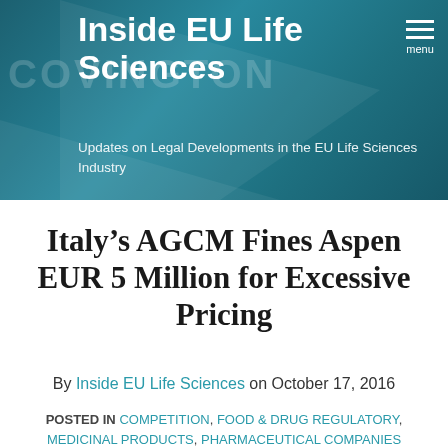Inside EU Life Sciences
Updates on Legal Developments in the EU Life Sciences Industry
Italy’s AGCM Fines Aspen EUR 5 Million for Excessive Pricing
By Inside EU Life Sciences on October 17, 2016
POSTED IN COMPETITION, FOOD & DRUG REGULATORY, MEDICINAL PRODUCTS, PHARMACEUTICAL COMPANIES